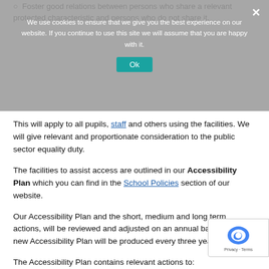Foster good relations between persons who share a relevant protected characteristic and persons who do not share it.
[Figure (screenshot): Cookie consent banner overlay with text: 'We use cookies to ensure that we give you the best experience on our website. If you continue to use this site we will assume that you are happy with it.' with an Ok button and close X button.]
This will apply to all pupils, staff and others using the facilities. We will give relevant and proportionate consideration to the public sector equality duty.
The facilities to assist access are outlined in our Accessibility Plan which you can find in the School Policies section of our website.
Our Accessibility Plan and the short, medium and long term actions, will be reviewed and adjusted on an annual basis and a new Accessibility Plan will be produced every three years.
The Accessibility Plan contains relevant actions to: